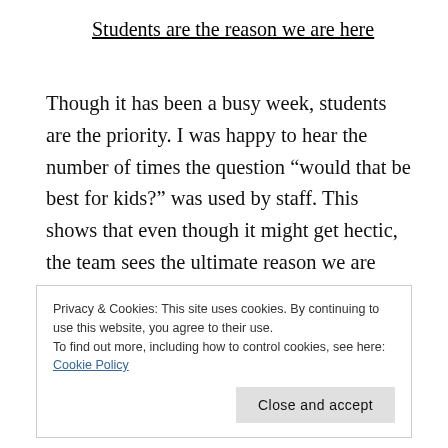Students are the reason we are here
Though it has been a busy week, students are the priority. I was happy to hear the number of times the question “would that be best for kids?” was used by staff. This shows that even though it might get hectic, the team sees the ultimate reason we are here.
Privacy & Cookies: This site uses cookies. By continuing to use this website, you agree to their use.
To find out more, including how to control cookies, see here: Cookie Policy